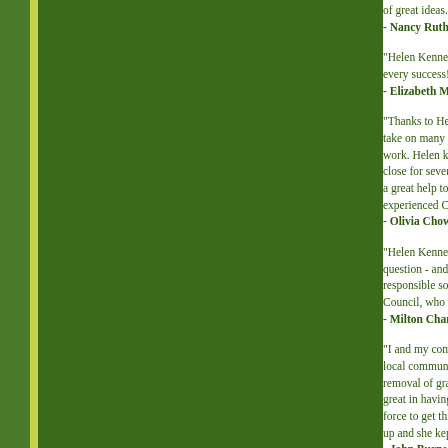of great ideas. As well, the Irish humour without th
- Nancy Ruth, Conservative Senator
"Helen Kennedy has an impressive grasp of wha... every success!"
- Elizabeth May, Order of Canada, Federal Lea
"Thanks to Helen Kennedy's outstanding work w... take on many roles in City Council. Together, ou... work. Helen knows her way around City Hall - a... close for seven years and I have seen how effec... a great help to me as MP if Helen is our City ... experienced Councillor for our ward. Helen Kenn
- Olivia Chow, MP
"Helen Kennedy has a remarkable and refresh... question - and all political camps - to build ... responsible solutions. That's what we need at C... Council, who will help bring different sides togeth
- Milton Chan, Vice-President, Young Liberals
"I and my community worked with Helen Kenne... local community residents association. We were... removal of graffiti and garbage. She also helpe... great in having a skating party. She's always ther... force to get things done. She knows City Hall. Sh... up and she kept the AGO expansion civil with all t
- John Burns, President, Trinity-Spadina Gree